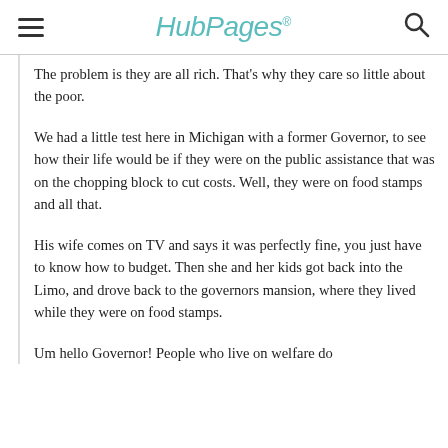HubPages
The problem is they are all rich. That's why they care so little about the poor.
We had a little test here in Michigan with a former Governor, to see how their life would be if they were on the public assistance that was on the chopping block to cut costs. Well, they were on food stamps and all that.
His wife comes on TV and says it was perfectly fine, you just have to know how to budget. Then she and her kids got back into the Limo, and drove back to the governors mansion, where they lived while they were on food stamps.
Um hello Governor! People who live on welfare do